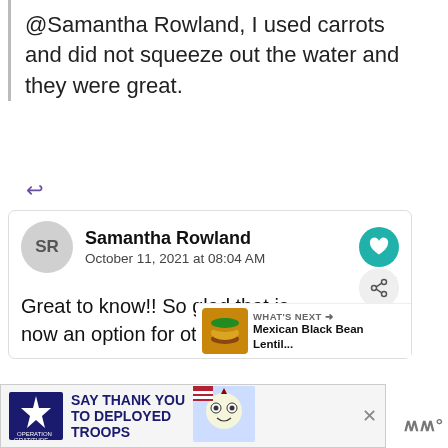@Samantha Rowland, I used carrots and did not squeeze out the water and they were great.
SR
Samantha Rowland
October 11, 2021 at 08:04 AM
13.5K
Great to know!! So glad that is now an option for others!
[Figure (screenshot): WHAT'S NEXT arrow, Mexican Black Bean Lentil... text with burger thumbnail]
[Figure (infographic): Operation Gratitude ad: SAY THANK YOU TO DEPLOYED TROOPS with owl mascot and American flag imagery]